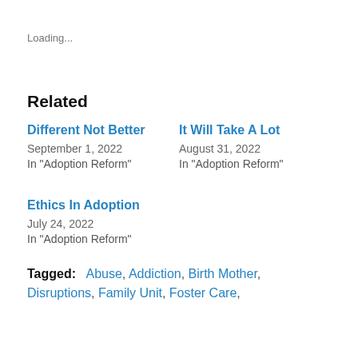Loading...
Related
Different Not Better
September 1, 2022
In "Adoption Reform"
It Will Take A Lot
August 31, 2022
In "Adoption Reform"
Ethics In Adoption
July 24, 2022
In "Adoption Reform"
Tagged: Abuse, Addiction, Birth Mother, Disruptions, Family Unit, Foster Care,